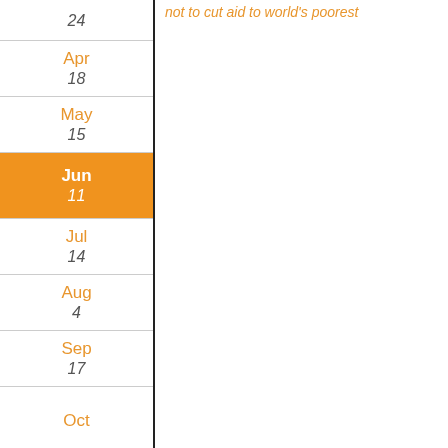not to cut aid to world's poorest
24
Apr
18
May
15
Jun (highlighted)
11
Jul
14
Aug
4
Sep
17
Oct